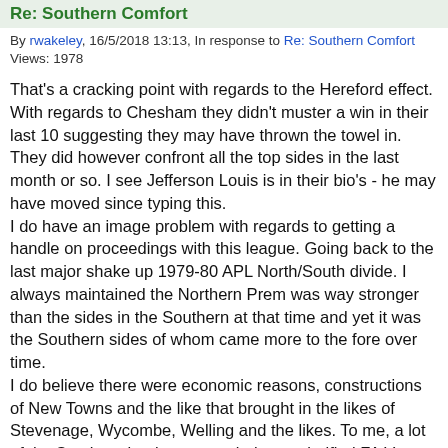Re: Southern Comfort
By rwakeley, 16/5/2018 13:13, In response to Re: Southern Comfort
Views: 1978
That's a cracking point with regards to the Hereford effect. With regards to Chesham they didn't muster a win in their last 10 suggesting they may have thrown the towel in. They did however confront all the top sides in the last month or so. I see Jefferson Louis is in their bio's - he may have moved since typing this.
I do have an image problem with regards to getting a handle on proceedings with this league. Going back to the last major shake up 1979-80 APL North/South divide. I always maintained the Northern Prem was way stronger than the sides in the Southern at that time and yet it was the Southern sides of whom came more to the fore over time.
I do believe there were economic reasons, constructions of New Towns and the like that brought in the likes of Stevenage, Wycombe, Welling and the likes. To me, a lot of the Southern landscape reminds me glorified FA Vase...